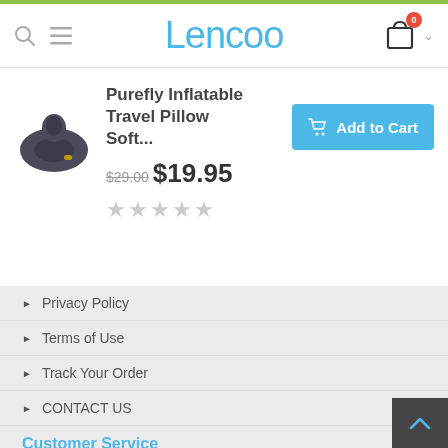Lencoo
Purefly Inflatable Travel Pillow Soft...
$29.00 $19.95
[Figure (illustration): Product image of a dark navy inflatable travel neck pillow]
Privacy Policy
Terms of Use
Track Your Order
CONTACT US
Customer Service
FAQs
Return Policy
Shipping Policy